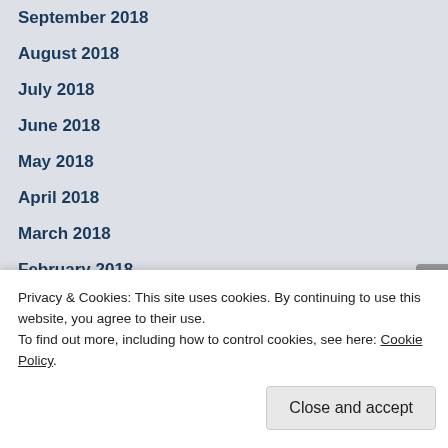September 2018
August 2018
July 2018
June 2018
May 2018
April 2018
March 2018
February 2018
December 2017
November 2017
October 2017
Privacy & Cookies: This site uses cookies. By continuing to use this website, you agree to their use.
To find out more, including how to control cookies, see here: Cookie Policy